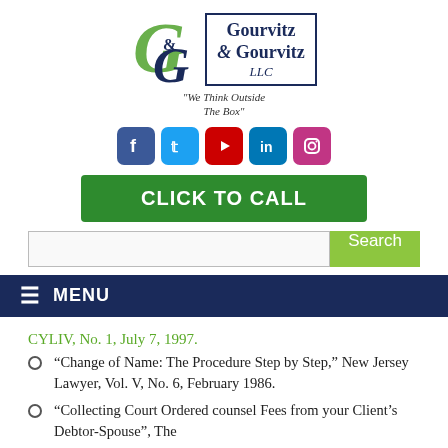[Figure (logo): Gourvitz & Gourvitz LLC law firm logo with green and navy G monogram and boxed firm name, tagline 'We Think Outside The Box', social media icons (Facebook, Twitter, YouTube, LinkedIn, Instagram), green CLICK TO CALL button, and search bar]
≡ MENU
CYLIV, No. 1, July 7, 1997.
“Change of Name: The Procedure Step by Step,” New Jersey Lawyer, Vol. V, No. 6, February 1986.
“Collecting Court Ordered counsel Fees from your Client’s Debtor-Spouse”, The